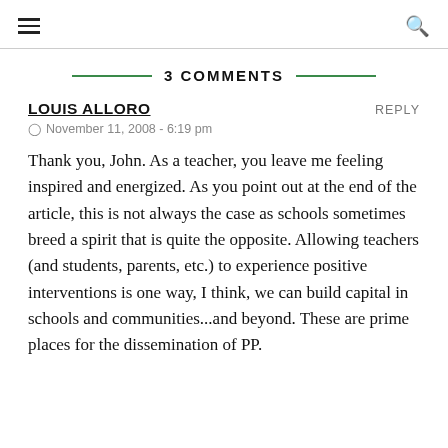≡  🔍
3 COMMENTS
LOUIS ALLORO
November 11, 2008 - 6:19 pm
Thank you, John. As a teacher, you leave me feeling inspired and energized. As you point out at the end of the article, this is not always the case as schools sometimes breed a spirit that is quite the opposite. Allowing teachers (and students, parents, etc.) to experience positive interventions is one way, I think, we can build capital in schools and communities...and beyond. These are prime places for the dissemination of PP.